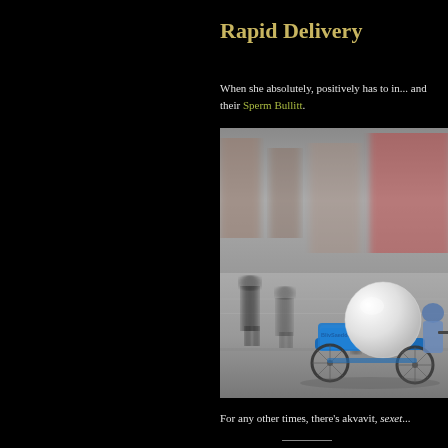Rapid Delivery
When she absolutely, positively has to in... and their Sperm Bullitt.
[Figure (photo): A blue cargo bicycle with a large white spherical ball on the back, branded with 'BlivSaeddono...' text, speeding through a city street with motion blur. Pedestrians and a stroller visible in background.]
For any other times, there's akvavit, sexet...